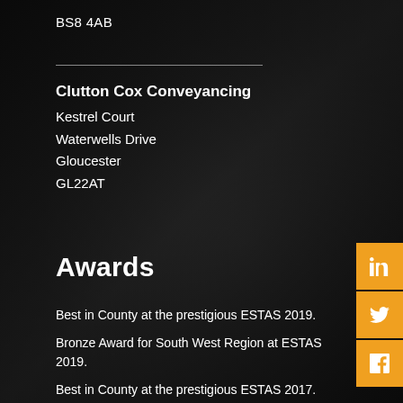BS8 4AB
Clutton Cox Conveyancing
Kestrel Court
Waterwells Drive
Gloucester
GL22AT
Awards
Best in County at the prestigious ESTAS 2019.
Bronze Award for South West Region at ESTAS 2019.
Best in County at the prestigious ESTAS 2017.
Best Marketing and use of Social Media Awards at the LFS Conveyancing Awards.
Most Innovative Marketing Idea at the 360 Legal Awards in